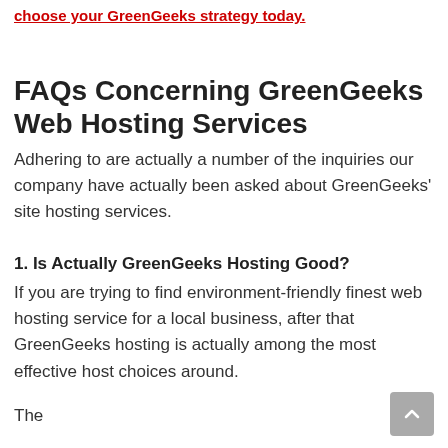choose your GreenGeeks strategy today.
FAQs Concerning GreenGeeks Web Hosting Services
Adhering to are actually a number of the inquiries our company have actually been asked about GreenGeeks' site hosting services.
1. Is Actually GreenGeeks Hosting Good?
If you are trying to find environment-friendly finest web hosting service for a local business, after that GreenGeeks hosting is actually among the most effective host choices around.
The...